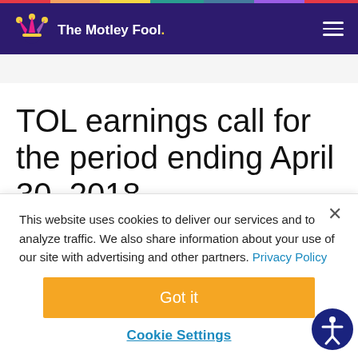[Figure (logo): The Motley Fool logo with jester hat on dark purple navigation header]
TOL earnings call for the period ending April 30, 2018
This website uses cookies to deliver our services and to analyze traffic. We also share information about your use of our site with advertising and other partners. Privacy Policy
Got it
Cookie Settings